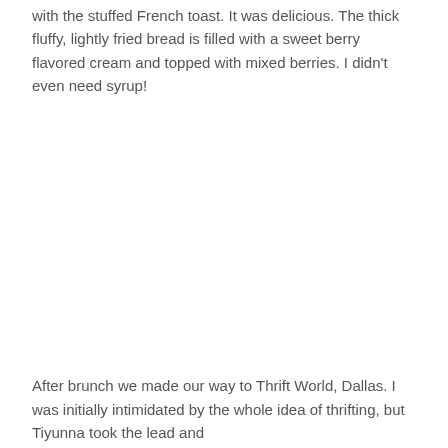with the stuffed French toast.  It was delicious.  The thick fluffy, lightly fried bread is filled with a sweet berry flavored cream and topped with mixed berries.  I didn't even need syrup!
After brunch we made our way to Thrift World, Dallas.  I was initially intimidated by the whole idea of thrifting, but Tiyunna took the lead and